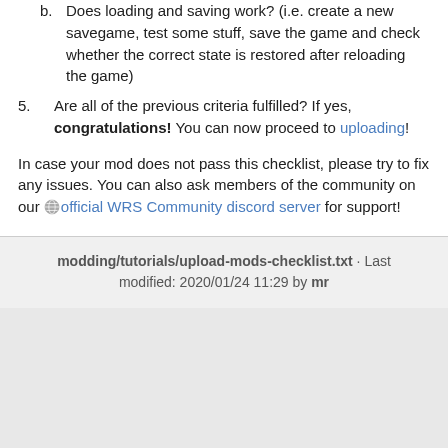b. Does loading and saving work? (i.e. create a new savegame, test some stuff, save the game and check whether the correct state is restored after reloading the game)
5. Are all of the previous criteria fulfilled? If yes, congratulations! You can now proceed to uploading!
In case your mod does not pass this checklist, please try to fix any issues. You can also ask members of the community on our official WRS Community discord server for support!
modding/tutorials/upload-mods-checklist.txt · Last modified: 2020/01/24 11:29 by mr